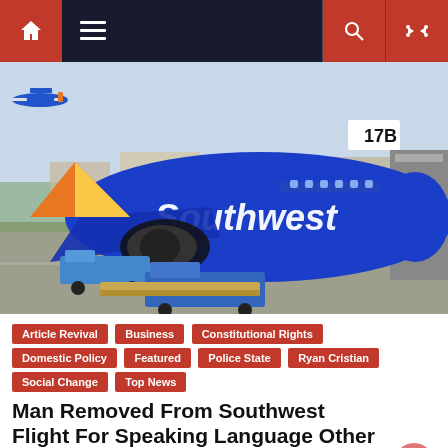Navigation bar with home, menu, search, and shuffle icons
[Figure (photo): Southwest Airlines blue Boeing 737 aircraft docked at gate 17B, with ground support vehicles and another Southwest plane taking off in the background]
Article Revival
Business
Constitutional Rights
Domestic Policy
Featured
Police State
Ryan Cristian
Social Change
Top News
Man Removed From Southwest Flight For Speaking Language Other Than English
April 18, 2016  Ryan Cristián  Comment(1)